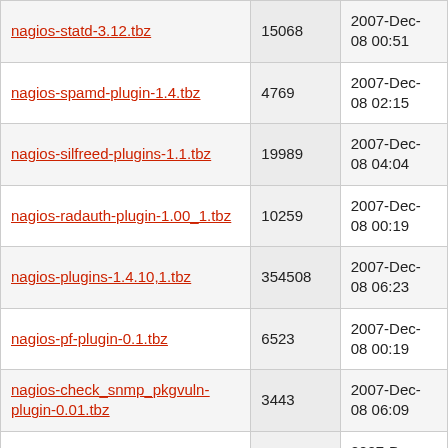| Name | Size | Date |
| --- | --- | --- |
| nagios-statd-3.12.tbz | 15068 | 2007-Dec-08 00:51 |
| nagios-spamd-plugin-1.4.tbz | 4769 | 2007-Dec-08 02:15 |
| nagios-silfreed-plugins-1.1.tbz | 19989 | 2007-Dec-08 04:04 |
| nagios-radauth-plugin-1.00_1.tbz | 10259 | 2007-Dec-08 00:19 |
| nagios-plugins-1.4.10,1.tbz | 354508 | 2007-Dec-08 06:23 |
| nagios-pf-plugin-0.1.tbz | 6523 | 2007-Dec-08 00:19 |
| nagios-check_snmp_pkgvuln-plugin-0.01.tbz | 3443 | 2007-Dec-08 06:09 |
| nagios-certexp-plugin-1.1.tbz | 4605 | 2007-Dec-08 02:36 |
| nagios-3.0.b5.tbz | 2985900 | 2007-Dec-08 06:58 |
| nagios-2.9_2.tbz | 1875524 | 2007-Dec-08 07:13 |
| nagios-1.2_4,1.tbz | 1692133 | 2007-Dec-08 06:59 |